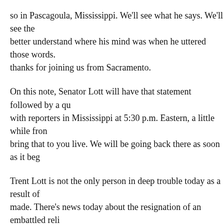so in Pascagoula, Mississippi. We'll see what he says. We'll see the better understand where his mind was when he uttered those words. thanks for joining us from Sacramento.
On this note, Senator Lott will have that statement followed by a qu with reporters in Mississippi at 5:30 p.m. Eastern, a little while fron bring that to you live. We will be going back there as soon as it beg
Trent Lott is not the only person in deep trouble today as a result of made. There's news today about the resignation of an embattled reli Bernard Law has stepped down as the Archbishop of Boston. The m emotions from those who say they've been victims of sexual abuse archdiocese.
(BEGIN VIDEOTAPE)